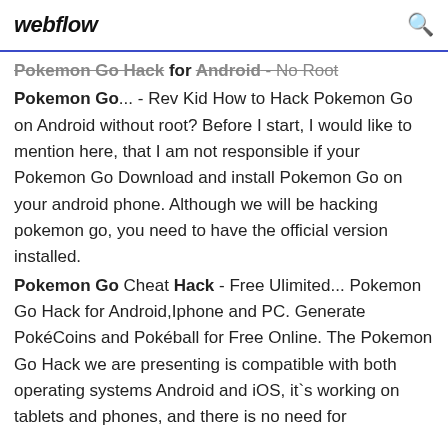webflow
Pokemon Go Hack for Android - No Root
Pokemon Go... - Rev Kid How to Hack Pokemon Go on Android without root? Before I start, I would like to mention here, that I am not responsible if your Pokemon Go Download and install Pokemon Go on your android phone. Although we will be hacking pokemon go, you need to have the official version installed.
Pokemon Go Cheat Hack - Free Ulimited... Pokemon Go Hack for Android,Iphone and PC. Generate PokéCoins and Pokéball for Free Online. The Pokemon Go Hack we are presenting is compatible with both operating systems Android and iOS, it`s working on tablets and phones, and there is no need for